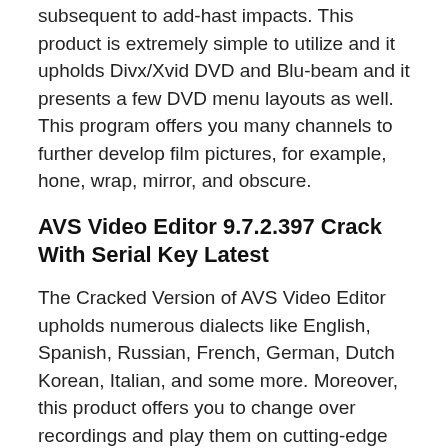subsequent to add-hast impacts. This product is extremely simple to utilize and it upholds Divx/Xvid DVD and Blu-beam and it presents a few DVD menu layouts as well. This program offers you many channels to further develop film pictures, for example, hone, wrap, mirror, and obscure.
AVS Video Editor 9.7.2.397 Crack With Serial Key Latest
The Cracked Version of AVS Video Editor upholds numerous dialects like English, Spanish, Russian, French, German, Dutch Korean, Italian, and some more. Moreover, this product offers you to change over recordings and play them on cutting-edge gadgets like Apple iPhone X/8/7/6S, Ipad Air 2, Sony PlayStation 4, Microsoft Xbox One X, and Sony Xperia. With this device, you can